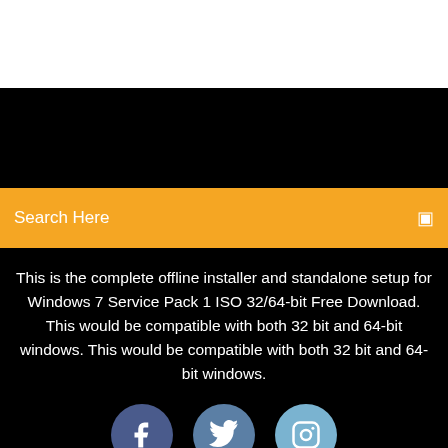[Figure (screenshot): White top area, navigation/header region]
[Figure (screenshot): Black bar with partially visible text area]
Search Here
This is the complete offline installer and standalone setup for Windows 7 Service Pack 1 ISO 32/64-bit Free Download. This would be compatible with both 32 bit and 64-bit windows. This would be compatible with both 32 bit and 64-bit windows.
[Figure (infographic): Three social media icon circles: Facebook (dark blue), Twitter (medium blue), Instagram (light blue)]